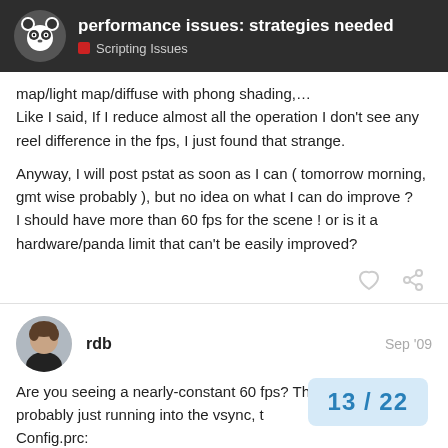performance issues: strategies needed — Scripting Issues
map/light map/diffuse with phong shading,…
Like I said, If I reduce almost all the operation I don't see any reel difference in the fps, I just found that strange.

Anyway, I will post pstat as soon as I can ( tomorrow morning, gmt wise probably ), but no idea on what I can do improve ?
I should have more than 60 fps for the scene ! or is it a hardware/panda limit that can't be easily improved?
rdb  Sep '09
Are you seeing a nearly-constant 60 fps? Then you are probably just running into the vsync, t
Config.prc: